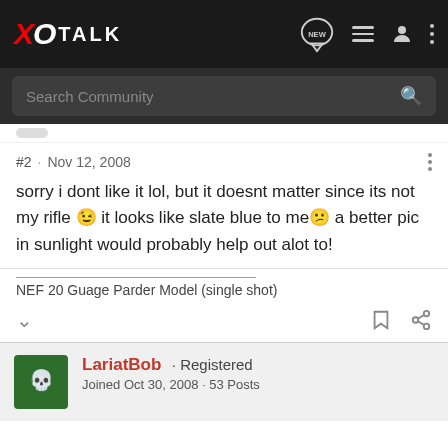XO TALK
Search Community
#2 · Nov 12, 2008
sorry i dont like it lol, but it doesnt matter since its not my rifle 😉 it looks like slate blue to me😕 a better pic in sunlight would probably help out alot to!
NEF 20 Guage Parder Model (single shot)
LariatBob · Registered
Joined Oct 30, 2008 · 53 Posts